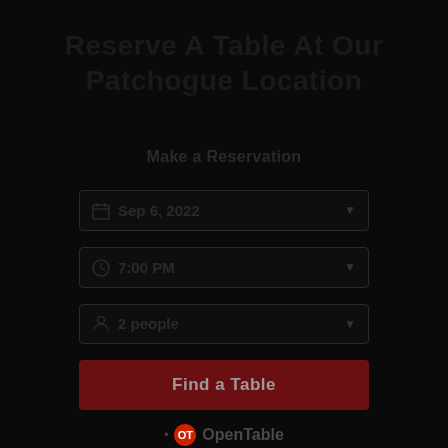Reserve A Table At Our Patchogue Location
Make a Reservation
Sep 6, 2022
7:00 PM
2 people
Find a Table
OpenTable